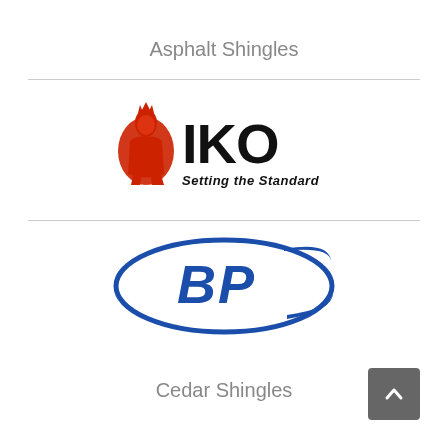Asphalt Shingles
[Figure (logo): IKO logo with knight chess piece icon and tagline 'Setting the Standard']
[Figure (logo): BP logo — blue oval with 'BP' text in bold blue italic letters]
Cedar Shingles